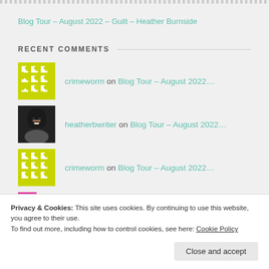Blog Tour – August 2022 – Guilt – Heather Burnside
RECENT COMMENTS
crimeworm on Blog Tour – August 2022…
heatherbwriter on Blog Tour – August 2022…
crimeworm on Blog Tour – August 2022…
annecater on Blog Tour – August 2022…
Privacy & Cookies: This site uses cookies. By continuing to use this website, you agree to their use. To find out more, including how to control cookies, see here: Cookie Policy
Close and accept